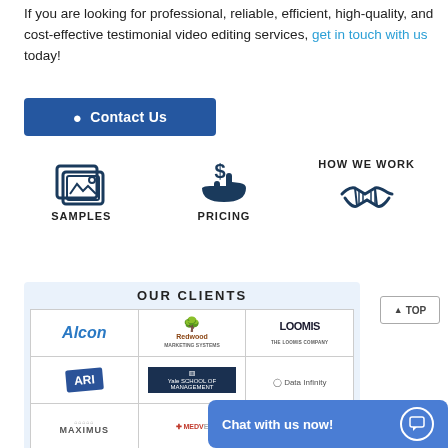If you are looking for professional, reliable, efficient, high-quality, and cost-effective testimonial video editing services, get in touch with us today!
[Figure (other): Contact Us button with person icon]
[Figure (infographic): Three navigation icon blocks: Samples (image gallery icon), Pricing (dollar on hand icon), How We Work (handshake icon)]
[Figure (other): Our Clients section with logos: Alcon, Redwood, Loomis, ARI, Yale School of Management, Data Infinity, Maximus, Medve]
[Figure (other): Chat with us now! chat bubble button in blue]
[Figure (other): TOP button with upward arrow]